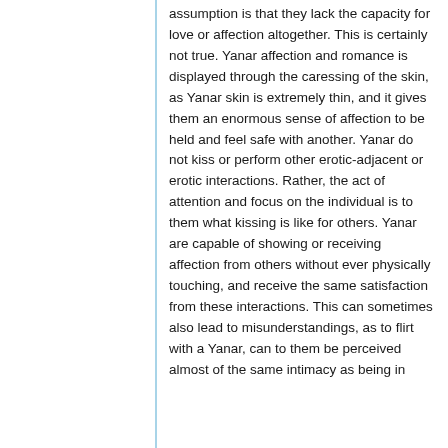assumption is that they lack the capacity for love or affection altogether. This is certainly not true. Yanar affection and romance is displayed through the caressing of the skin, as Yanar skin is extremely thin, and it gives them an enormous sense of affection to be held and feel safe with another. Yanar do not kiss or perform other erotic-adjacent or erotic interactions. Rather, the act of attention and focus on the individual is to them what kissing is like for others. Yanar are capable of showing or receiving affection from others without ever physically touching, and receive the same satisfaction from these interactions. This can sometimes also lead to misunderstandings, as to flirt with a Yanar, can to them be perceived almost of the same intimacy as being in